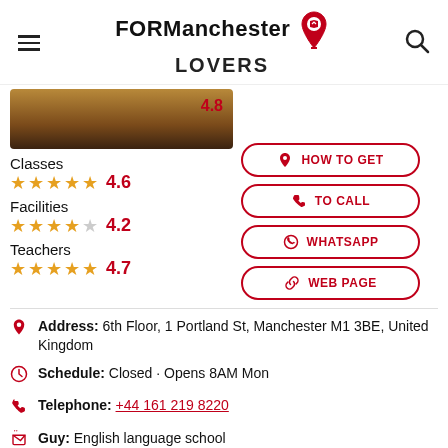FOR Manchester LOVERS
Classes
4.6
Facilities
4.2
Teachers
4.7
HOW TO GET
TO CALL
WHATSAPP
WEB PAGE
Address: 6th Floor, 1 Portland St, Manchester M1 3BE, United Kingdom
Schedule: Closed · Opens 8AM Mon
Telephone: +44 161 219 8220
Guy: English language school